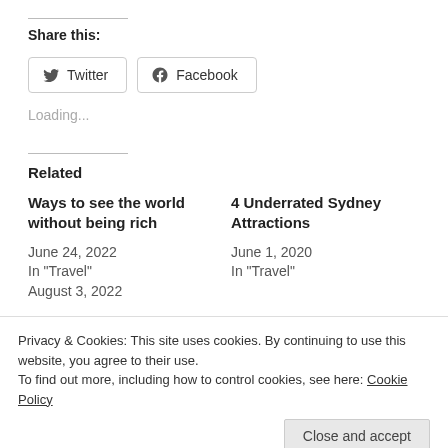Share this:
Twitter  Facebook
Loading...
Related
Ways to see the world without being rich
June 24, 2022
In "Travel"
4 Underrated Sydney Attractions
June 1, 2020
In "Travel"
Privacy & Cookies: This site uses cookies. By continuing to use this website, you agree to their use.
To find out more, including how to control cookies, see here: Cookie Policy
Close and accept
August 3, 2022